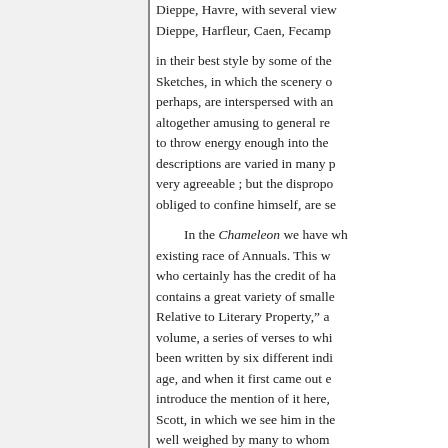Dieppe, Havre, with several view... Dieppe, Harfleur, Caen, Fecamp... in their best style by some of the... Sketches, in which the scenery o... perhaps, are interspersed with an... altogether amusing to general re... to throw energy enough into the... descriptions are varied in many p... very agreeable ; but the disprop... obliged to confine himself, are se... In the Chameleon we have wh... existing race of Annuals. This w... who certainly has the credit of h... contains a great variety of smalle... Relative to Literary Property," a... volume, a series of verses to whi... been written by six different indi... age, and when it first came out e... introduce the mention of it here,... Scott, in which we see him in th... well weighed by many to whom... From Sir WALTER Scott to th...